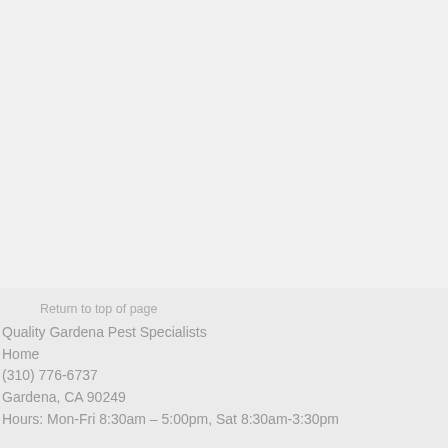Return to top of page
Quality Gardena Pest Specialists
Home
(310) 776-6737
Gardena, CA 90249
Hours: Mon-Fri 8:30am – 5:00pm, Sat 8:30am-3:30pm